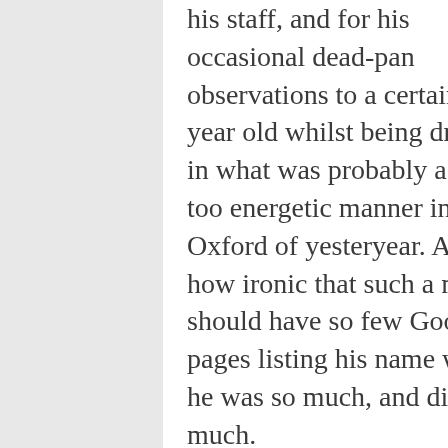his staff, and for his occasional dead-pan observations to a certain 17 year old whilst being driven in what was probably a far too energetic manner in the Oxford of yesteryear. And how ironic that such a man should have so few Google pages listing his name when he was so much, and did so much. If the office boy who occasionally drove Mr Burchfield can command half a dozen pages of Google links, then this man who had an intelligence far superior, and a reach via the OED of so much greater